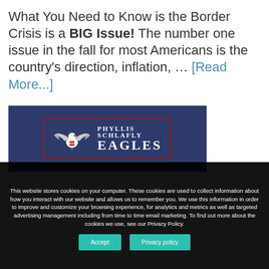What You Need to Know is the Border Crisis is a BIG Issue! The number one issue in the fall for most Americans is the country's direction, inflation, … [Read More...]
[Figure (logo): Phyllis Schlafly Eagles logo on dark navy background with red-bordered box, featuring an eagle graphic and white text reading PHYLLIS SCHLAFLY EAGLES]
This website stores cookies on your computer. These cookies are used to collect information about how you interact with our website and allows us to remember you. We use this information in order to improve and customize your browsing experience, for analytics and metrics as well as targeted advertising management including from time to time email marketing. To find out more about the cookies we use, see our Privacy Policy.